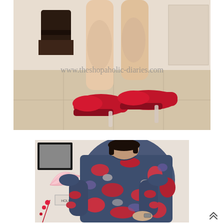[Figure (photo): Close-up photo of a person's legs wearing red platform high heels with clear/transparent stiletto heels, standing on a tiled floor. A decorative dark object is visible in the background on the left. Watermark text reads: www.theshopaholic-diaries.com]
[Figure (photo): Photo of a woman wearing a floral/multicolor patterned long-sleeve top in navy, red, and white, posing with one hand on her hip. Background shows a decorative pink fan and red floral wall art.]